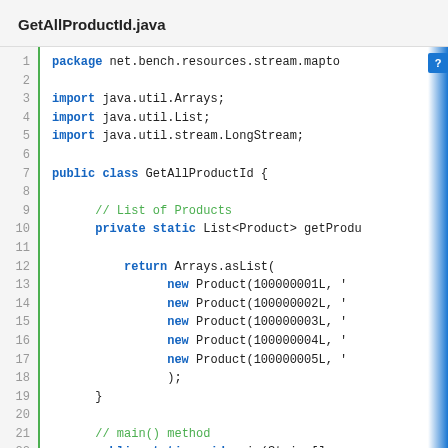GetAllProductId.java
[Figure (screenshot): Java source code editor showing GetAllProductId.java with line numbers 1-26. Code includes package declaration, imports for java.util.Arrays, java.util.List, java.util.stream.LongStream, a class definition GetAllProductId with a private static method returning Arrays.asList of Product objects with IDs 100000001L through 100000005L, a main method, and a comment about List of Products.]